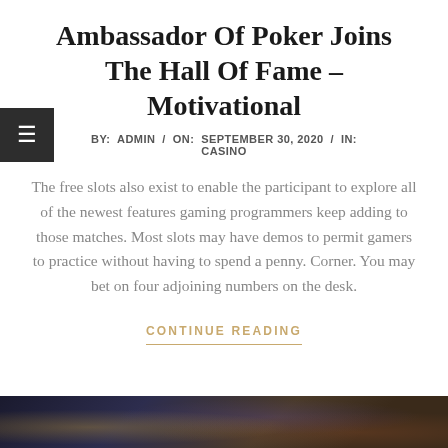Ambassador Of Poker Joins The Hall Of Fame – Motivational
BY:  ADMIN  /  ON:  SEPTEMBER 30, 2020  /  IN:  CASINO
The free slots also exist to enable the participant to explore all of the newest features gaming programmers keep adding to those matches. Most slots may have demos to permit gamers to practice without having to spend a penny. Corner. You may bet on four adjoining numbers on the desk.
CONTINUE READING
[Figure (photo): Bottom portion of a photo, dark gaming/casino scene with colored lights]